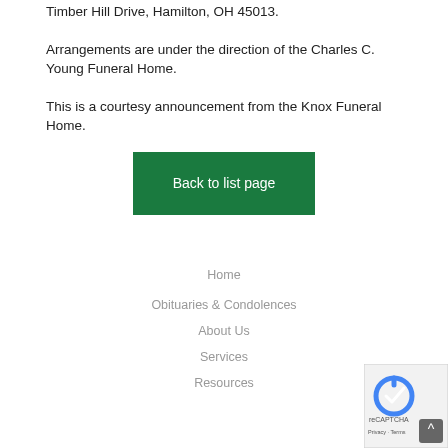Timber Hill Drive, Hamilton, OH 45013.
Arrangements are under the direction of the Charles C. Young Funeral Home.
This is a courtesy announcement from the Knox Funeral Home.
[Figure (other): Green button labeled 'Back to list page']
Home
Obituaries & Condolences
About Us
Services
Resources
[Figure (other): reCAPTCHA badge with Privacy and Terms links, and scroll-to-top arrow button]